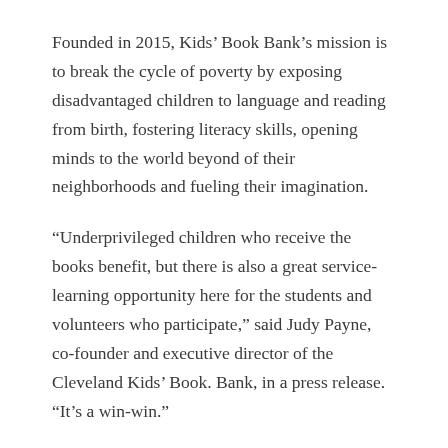Founded in 2015, Kids' Book Bank's mission is to break the cycle of poverty by exposing disadvantaged children to language and reading from birth, fostering literacy skills, opening minds to the world beyond of their neighborhoods and fueling their imagination.
“Underprivileged children who receive the books benefit, but there is also a great service-learning opportunity here for the students and volunteers who participate,” said Judy Payne, co-founder and executive director of the Cleveland Kids’ Book. Bank, in a press release. “It’s a win-win.”
Books collected in Olmsted Falls will be distributed from the Children’s Book Bank to children and families at recreation centers and through tutors, churches, libraries and pantries.
Additionally, through WIC (Women, Infants, and Children), mothers of 18,000 children ages 5 and under receive books, as well as